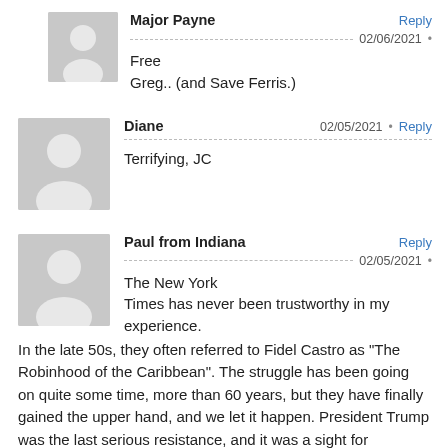Major Payne  02/06/2021  Reply
Free Greg.. (and Save Ferris.)
Diane  02/05/2021  Reply
Terrifying, JC
Paul from Indiana  02/05/2021  Reply
The New York Times has never been trustworthy in my experience. In the late 50s, they often referred to Fidel Castro as “The Robinhood of the Caribbean”. The struggle has been going on quite some time, more than 60 years, but they have finally gained the upper hand, and we let it happen. President Trump was the last serious resistance, and it was a sight for